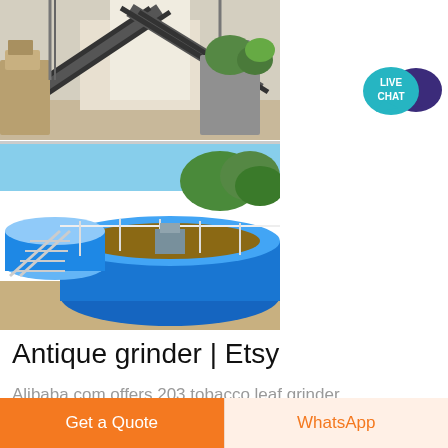[Figure (photo): Industrial machinery / conveyor belt and crushing equipment at a mining or quarry facility]
[Figure (photo): Blue cylindrical water treatment or thickener tanks at an industrial facility]
[Figure (infographic): Live Chat speech bubble icon in teal and dark purple]
Antique grinder | Etsy
Alibaba.com offers 203 tobacco leaf grinder
Get a Quote
WhatsApp